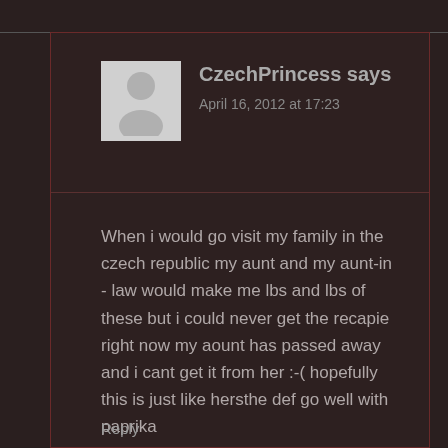CzechPrincess says
April 16, 2012 at 17:23
When i would go visit my family in the czech republic my aunt and my aunt-in - law would make me lbs and lbs of these but i could never get the recapie right now my aount has passed away and i cant get it from her :-( hopefully this is just like hersthe def go well with paprika
Reply